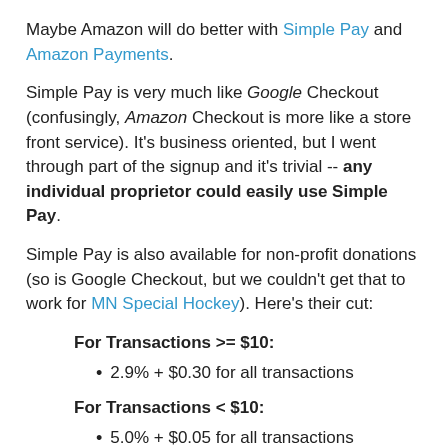Maybe Amazon will do better with Simple Pay and Amazon Payments.
Simple Pay is very much like Google Checkout (confusingly, Amazon Checkout is more like a store front service). It's business oriented, but I went through part of the signup and it's trivial -- any individual proprietor could easily use Simple Pay.
Simple Pay is also available for non-profit donations (so is Google Checkout, but we couldn't get that to work for MN Special Hockey). Here's their cut:
For Transactions >= $10:
2.9% + $0.30 for all transactions
For Transactions < $10:
5.0% + $0.05 for all transactions
Amazon payments is even more interesting. It allows phone-to-phone cash transfers and online cash